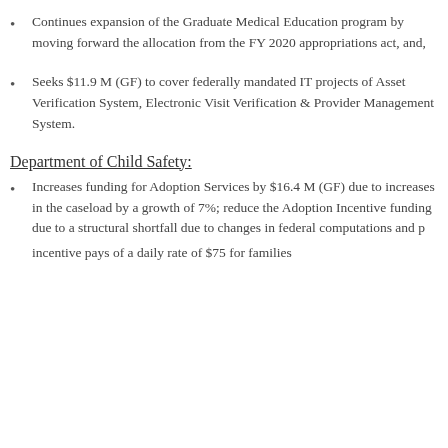Continues expansion of the Graduate Medical Education program by moving forward the allocation from the FY 2020 appropriations act, and,
Seeks $11.9 M (GF) to cover federally mandated IT projects of Asset Verification System, Electronic Visit Verification & Provider Management System.
Department of Child Safety:
Increases funding for Adoption Services by $16.4 M (GF) due to increases in the caseload by a growth of 7%; reduce the Adoption Incentive funding due to a structural shortfall due to changes in federal computations and p... incentive pays of a daily rate of $75 for families...